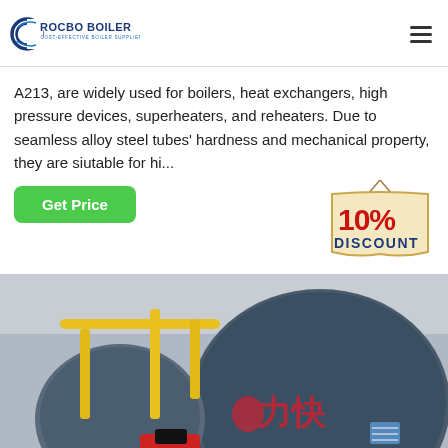ROCBO BOILER - COST-EFFECTIVE BOILER SUPPLIER
A213, are widely used for boilers, heat exchangers, high pressure devices, superheaters, and reheaters. Due to seamless alloy steel tubes' hardness and mechanical property, they are siutable for hi...
[Figure (illustration): Green 'Get Price' button and a '10% DISCOUNT' badge graphic]
[Figure (photo): Industrial boiler facility showing large blue cylindrical boilers with Chinese characters, yellow pipes, and red equipment in a factory setting]